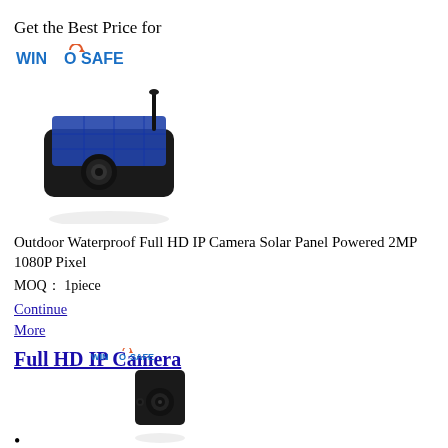Get the Best Price for
[Figure (logo): WINSAFE logo in blue text with circular arrow icon]
[Figure (photo): Black solar panel powered outdoor IP security camera on white background]
Outdoor Waterproof Full HD IP Camera Solar Panel Powered 2MP 1080P Pixel
MOQ： 1piece
Continue
More
Full HD IP Camera
[Figure (logo): Small WINSAFE logo]
[Figure (photo): Small black cube-shaped IP camera on white background]
•